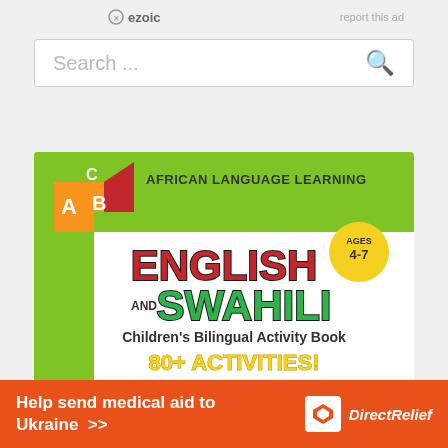ezoic   report this ad
Search ...
[Figure (illustration): Book cover for 'African Language Learning: English and Swahili Children's Bilingual Activity Book' with ABC blocks logo, green banner, red ENGLISH text, green SWAHILI text, Ages 4-7 badge, and '80+ ACTIVITIES!' in yellow.]
Help send medical aid to Ukraine >>